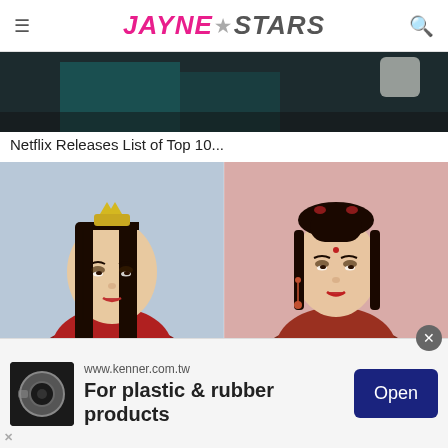JAYNE★STARS
[Figure (photo): Partial screenshot of a movie/drama scene with dark background, teal clothing visible]
Netflix Releases List of Top 10...
[Figure (photo): Two Chinese drama actors in traditional red costumes. Left: male actor with long black hair, silver crown, red robes on blue background. Right: female actress with updo, red earrings, dark red robes on pink background.]
[Figure (infographic): Advertisement banner: www.kenner.com.tw - For plastic & rubber products - Open button]